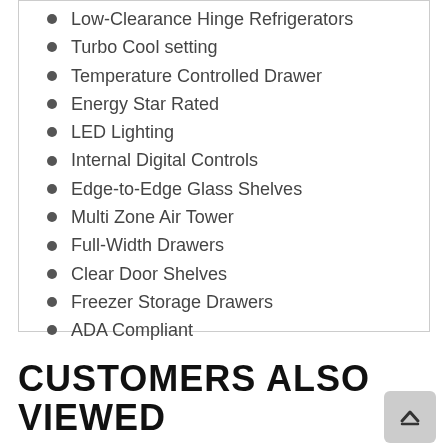Low-Clearance Hinge Refrigerators
Turbo Cool setting
Temperature Controlled Drawer
Energy Star Rated
LED Lighting
Internal Digital Controls
Edge-to-Edge Glass Shelves
Multi Zone Air Tower
Full-Width Drawers
Clear Door Shelves
Freezer Storage Drawers
ADA Compliant
CUSTOMERS ALSO VIEWED